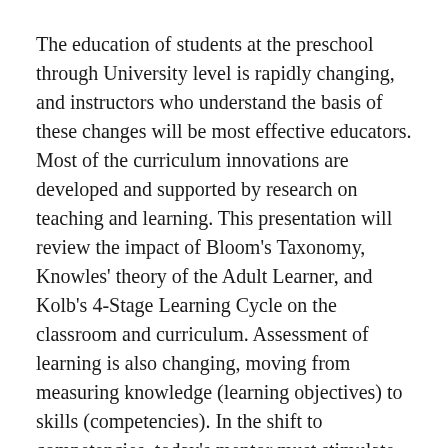The education of students at the preschool through University level is rapidly changing, and instructors who understand the basis of these changes will be most effective educators. Most of the curriculum innovations are developed and supported by research on teaching and learning. This presentation will review the impact of Bloom's Taxonomy, Knowles' theory of the Adult Learner, and Kolb's 4-Stage Learning Cycle on the classroom and curriculum. Assessment of learning is also changing, moving from measuring knowledge (learning objectives) to skills (competencies). In the shift to competencies, today's mentor must stimulate and monitor the professional development of their students and trainees. In USA, medical residents are assessed by competencies which include Medical Knowledge, Patient Care, Practice-Based Learning and Improvement